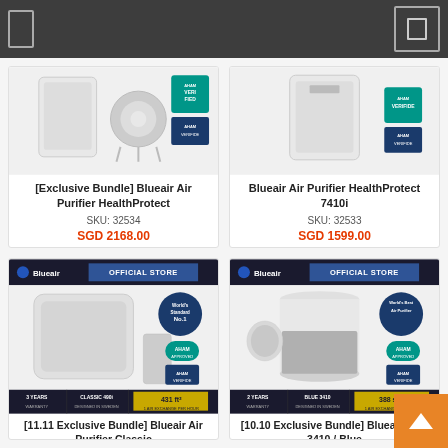Navigation bar
[Figure (photo): Blueair Air Purifier HealthProtect product image with AHAM Verifide badge]
[Exclusive Bundle] Blueair Air Purifier HealthProtect
SKU: 32534
SGD 2168.00
[Figure (photo): Blueair Air Purifier HealthProtect 7410i product image with AHAM Verifide badge]
Blueair Air Purifier HealthProtect 7410i
SKU: 32533
SGD 1599.00
[Figure (photo): Blueair Official Store - Blueair Air Purifier Classic 490i product image with World's Standard No.1 badge, AHAM Approved, AHAM Verifide badges, 3 Years Warranty, Classic 490i, 431 ft2 strip]
[11.11 Exclusive Bundle] Blueair Air Purifier Classic
[Figure (photo): Blueair Official Store - Blueair Blue 3410 product image with World's Best Air Purifier badge, AHAM Approved, AHAM Verifide badges, 2 Years Warranty, Blue 3410, 388 sqft strip]
[10.10 Exclusive Bundle] Blueair Blue 3410 / Blue